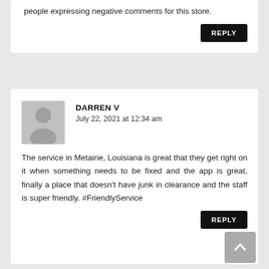people expressing negative comments for this store.
REPLY
DARREN V
July 22, 2021 at 12:34 am
The service in Metairie, Louisiana is great that they get right on it when something needs to be fixed and the app is great, finally a place that doesn't have junk in clearance and the staff is super friendly. #FriendlyService
REPLY